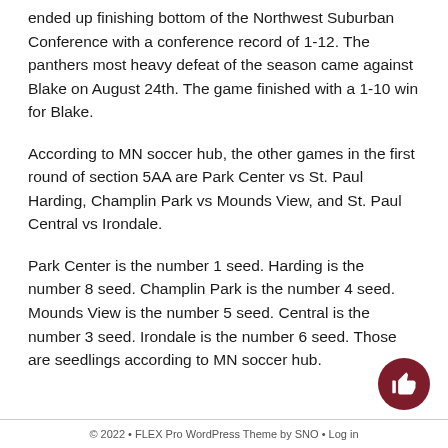ended up finishing bottom of the Northwest Suburban Conference with a conference record of 1-12. The panthers most heavy defeat of the season came against Blake on August 24th. The game finished with a 1-10 win for Blake.
According to MN soccer hub, the other games in the first round of section 5AA are Park Center vs St. Paul Harding, Champlin Park vs Mounds View, and St. Paul Central vs Irondale.
Park Center is the number 1 seed. Harding is the number 8 seed. Champlin Park is the number 4 seed. Mounds View is the number 5 seed. Central is the number 3 seed. Irondale is the number 6 seed. Those are seedlings according to MN soccer hub.
© 2022 • FLEX Pro WordPress Theme by SNO • Log in